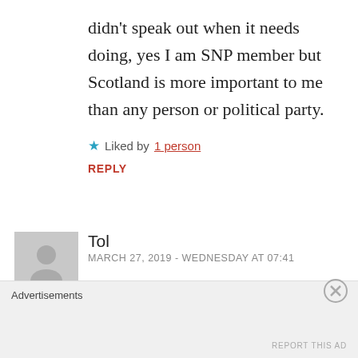didn't speak out when it needs doing, yes I am SNP member but Scotland is more important to me than any person or political party.
★ Liked by 1 person
REPLY
Tol
MARCH 27, 2019 - WEDNESDAY AT 07:41
Jason
Th…
Advertisements